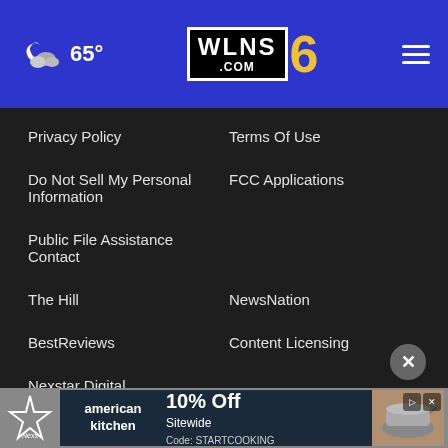65° WLNS 6 .COM
Privacy Policy
Terms Of Use
Do Not Sell My Personal Information
FCC Applications
Public File Assistance Contact
The Hill
NewsNation
BestReviews
Content Licensing
Nexstar Digital
[Figure (logo): Nexstar logo star graphic at bottom left]
[Figure (screenshot): American Kitchen advertisement: 10% Off Sitewide Code: STARTCOOKING with cookware image]